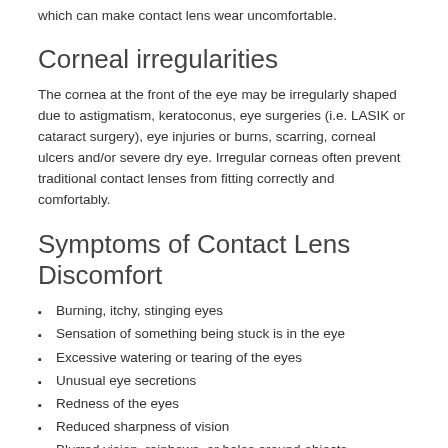which can make contact lens wear uncomfortable.
Corneal irregularities
The cornea at the front of the eye may be irregularly shaped due to astigmatism, keratoconus, eye surgeries (i.e. LASIK or cataract surgery), eye injuries or burns, scarring, corneal ulcers and/or severe dry eye. Irregular corneas often prevent traditional contact lenses from fitting correctly and comfortably.
Symptoms of Contact Lens Discomfort
Burning, itchy, stinging eyes
Sensation of something being stuck is in the eye
Excessive watering or tearing of the eyes
Unusual eye secretions
Redness of the eyes
Reduced sharpness of vision
Blurred vision, rainbows, or halos around objects
Sensitivity to light